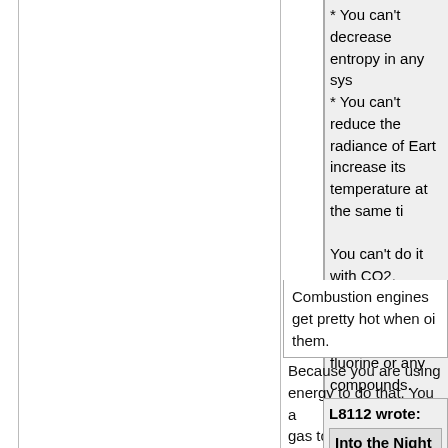* You can't decrease entropy in any sys...
* You can't reduce the radiance of Earth... increase its temperature at the same ti...
You can't do it with CO2, methane, wate vapor, nitrous oxides, or fluorine or any compounds.
You can't just discard the 1st and 2nd la... thermodynamics and the Stefan-Boltzm...
* You can't heat the warmer surface usin... gas.
Combustion engines get pretty hot when oi... them.
Because you are using energy to do that. You ... gas to heat a surface colder than it.
L8112 wrote:
Into the Night wrote:
* You can't decrease entropy in any sys...